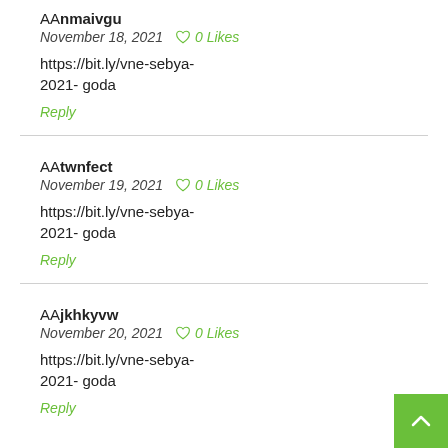AAnmaivgu
November 18, 2021  0 Likes
https://bit.ly/vne-sebya-2021-goda
Reply
AAtwnfect
November 19, 2021  0 Likes
https://bit.ly/vne-sebya-2021-goda
Reply
AAjkhkyvw
November 20, 2021  0 Likes
https://bit.ly/vne-sebya-2021-goda
Reply